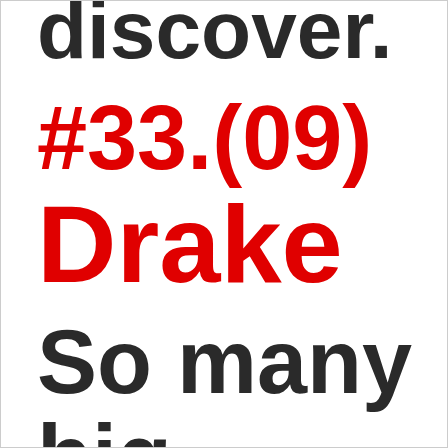wants do to discover.
#33.(09) Drake
So many big names drop